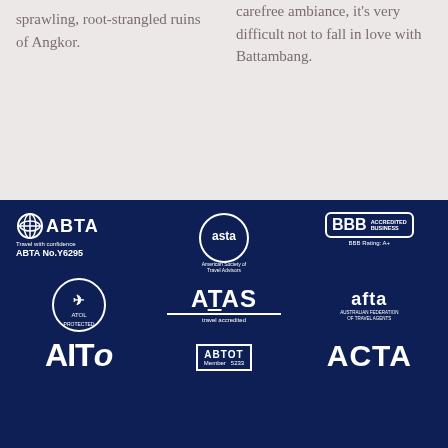sprawling, root-strangled ruins of Angkor.
carefree ambiance, it's very difficult not to fall in love with Battambang.
[Figure (logo): ABTA Travel with confidence logo, ABTA No.Y6295]
[Figure (logo): ASTA American Society of Travel Advisors logo]
[Figure (logo): BBB Accredited Business, BBB Rating: A+]
[Figure (logo): ATOL Protected logo]
[Figure (logo): ATAS travel accredited logo]
[Figure (logo): AFTA Australian Federation of Travel Agents logo]
[Figure (logo): AITO logo]
[Figure (logo): ABTOT Member 5233 logo]
[Figure (logo): ACTA logo]